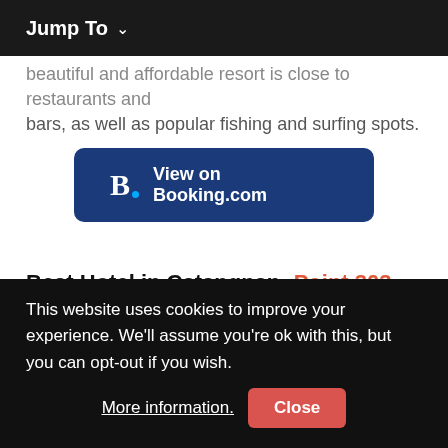Jump To
beautiful and affordable resort is close to restaurants and bars, as well as popular fishing and surfing spots.
[Figure (logo): Booking.com button with logo B. and text 'View on Booking.com' on dark blue background]
Best Hotel in Catangnan: Point 303 Cloud 9
This rustic and charming property is comprised of 16 well-appointed rooms. It offers a variety of facilities to guests,
This website uses cookies to improve your experience. We'll assume you're ok with this, but you can opt-out if you wish. More information. Close